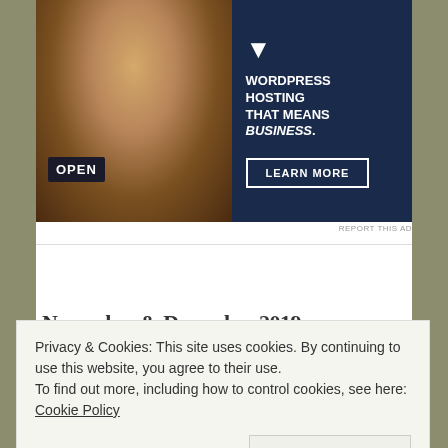[Figure (photo): Advertisement banner: woman holding an OPEN sign in a store, next to dark navy blue background with text 'WORDPRESS HOSTING THAT MEANS BUSINESS.' and a 'LEARN MORE' button]
REPORT THIS AD
November & December 2019
Privacy & Cookies: This site uses cookies. By continuing to use this website, you agree to their use.
To find out more, including how to control cookies, see here: Cookie Policy
Close and accept
NOVEMBER 5, 2019 · LEAVE A COMMENT